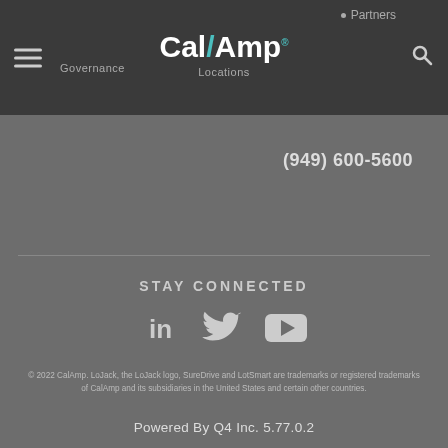[Figure (logo): CalAmp website navigation bar with hamburger menu, CalAmp logo with teal slash, Governance and Locations nav links, Partners bullet link, and search icon]
(949) 600-5600
STAY CONNECTED
[Figure (illustration): Social media icons: LinkedIn, Twitter, YouTube]
© 2022 CalAmp. LoJack, the LoJack logo, SureDrive and LotSmart are trademarks or registered trademarks of CalAmp and its subsidiaries in the United States and certain other countries.
Powered By Q4 Inc. 5.77.0.2